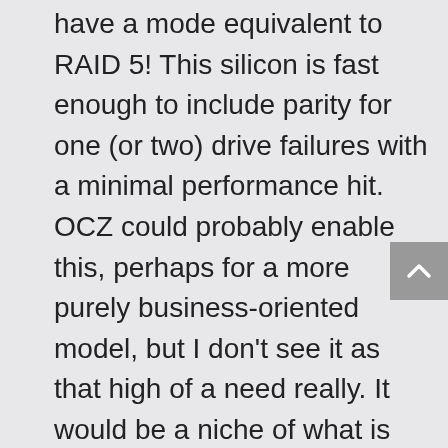have a mode equivalent to RAID 5! This silicon is fast enough to include parity for one (or two) drive failures with a minimal performance hit. OCZ could probably enable this, perhaps for a more purely business-oriented model, but I don't see it as that high of a need really. It would be a niche of what is already a niche to begin with!
Consider that adding parity to support failure of one of the SandForce channels. That's some form of chip failure – be it the SandForce or its bank of flash. The chips are fast enough to...